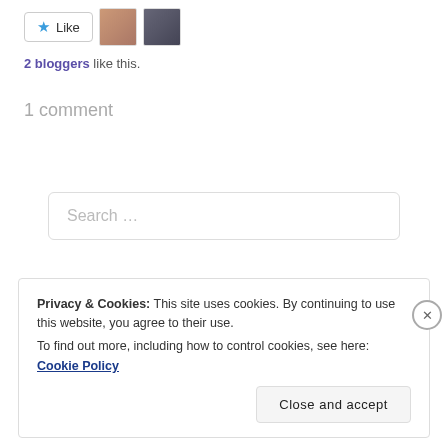[Figure (other): Like button with star icon and two avatar profile pictures of bloggers]
2 bloggers like this.
1 comment
Search …
Privacy & Cookies: This site uses cookies. By continuing to use this website, you agree to their use.
To find out more, including how to control cookies, see here: Cookie Policy
Close and accept